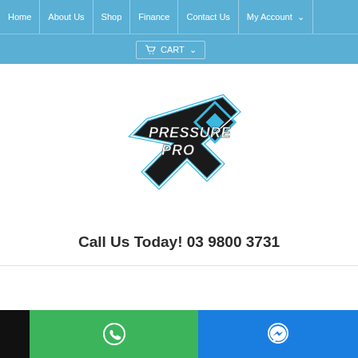Home | About Us | Shop | Finance | Contact Us | My Account
CART
[Figure (logo): Pressure Pro logo: stylized key shape with 'PRESSURE PRO' text in white italics, surrounded by blue diamond/key outline on dark background]
Call Us Today! 03 9800 3731